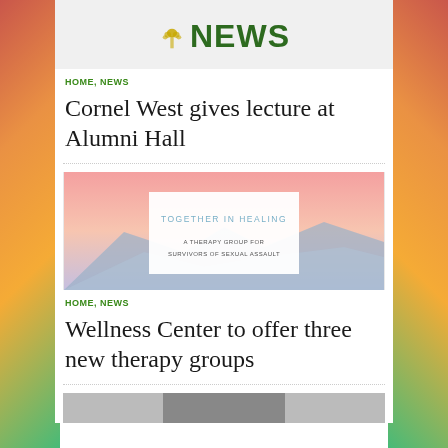[Figure (logo): NEWS logo with decorative icon above, green text]
HOME, NEWS
Cornel West gives lecture at Alumni Hall
[Figure (illustration): Book cover or flyer reading TOGETHER IN HEALING - A THERAPY GROUP FOR SURVIVORS OF SEXUAL ASSAULT, with pink/peach sky background and mountain silhouette]
HOME, NEWS
Wellness Center to offer three new therapy groups
[Figure (photo): Partial image at bottom of page, cut off]